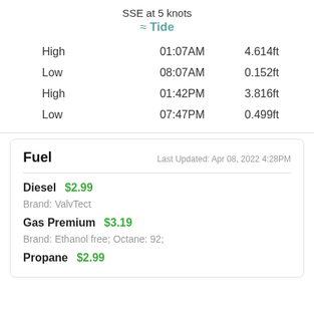SSE at 5 knots
≈ Tide
|  |  |  |
| --- | --- | --- |
| High | 01:07AM | 4.614ft |
| Low | 08:07AM | 0.152ft |
| High | 01:42PM | 3.816ft |
| Low | 07:47PM | 0.499ft |
Fuel
Last Updated: Apr 08, 2022 4:28PM
Diesel $2.99
Brand: ValvTect
Gas Premium $3.19
Brand: Ethanol free; Octane: 92;
Propane $2.99